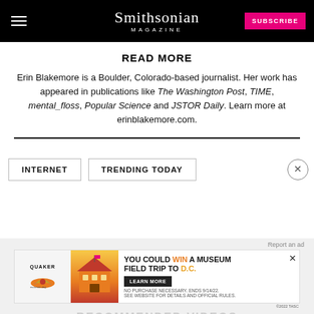Smithsonian MAGAZINE | SUBSCRIBE
READ MORE
Erin Blakemore is a Boulder, Colorado-based journalist. Her work has appeared in publications like The Washington Post, TIME, mental_floss, Popular Science and JSTOR Daily. Learn more at erinblakemore.com.
INTERNET
TRENDING TODAY
[Figure (screenshot): Quaker Museum Day advertisement banner: 'YOU COULD WIN A MUSEUM FIELD TRIP TO D.C.' with Learn More button]
RECOMMENDED VIDEOS